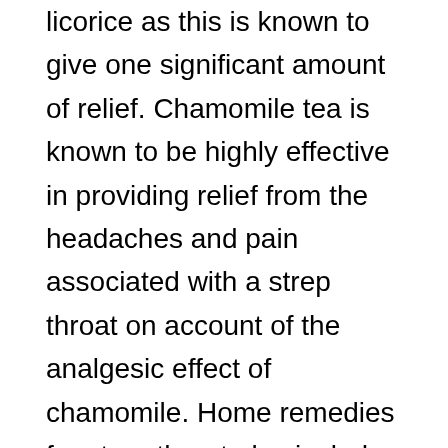licorice as this is known to give one significant amount of relief. Chamomile tea is known to be highly effective in providing relief from the headaches and pain associated with a strep throat on account of the analgesic effect of chamomile. Home remedies for strep throat also include consuming a mixture of lemon juice, honey and some warm water. This treatment is known to provide almost immediate relief from the throat pain caused by a strep throat. Fenugreek is another one of the most effective home remedies for a sore throat. To use fenugreek seeds one should add some of the fenugreek seeds to water and allow